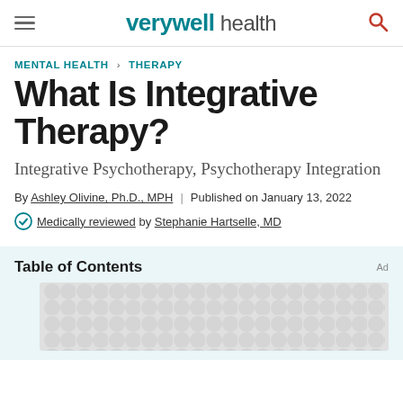verywell health
MENTAL HEALTH > THERAPY
What Is Integrative Therapy?
Integrative Psychotherapy, Psychotherapy Integration
By Ashley Olivine, Ph.D., MPH | Published on January 13, 2022
Medically reviewed by Stephanie Hartselle, MD
Table of Contents
[Figure (other): Ad placeholder with repeating circular dot pattern in light gray]